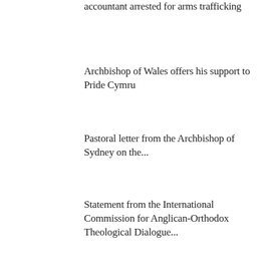accountant arrested for arms trafficking
Archbishop of Wales offers his support to Pride Cymru
Pastoral letter from the Archbishop of Sydney on the...
Statement from the International Commission for Anglican-Orthodox Theological Dialogue...